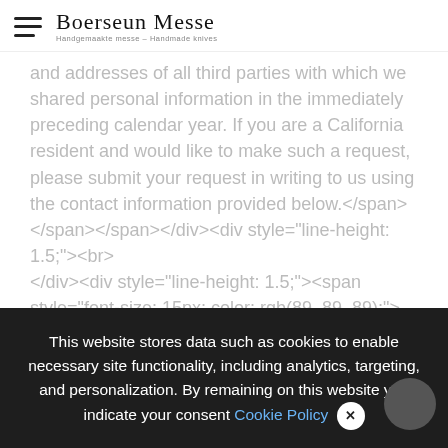Boerseun Messe | Handgemaakte messe – Handmade knives
and addresses of all third parties with which we shared personal information in the immediately preceding calendar year. If you are a California resident and would like to make such a request, please submit your request in writing to us using the contact information provided below.</span></span></span></div><div style="line-height: 1.5;"><br></div><div style="line-height: 1.5;"><span style="font-size: 15px; color: rgb(89, 89, 89);"><span style="font-size: 15px; color: rgb(89, 89, 89);"><span data-custom-class="body_text">If you are under 18 years of age, reside in California, and have a registered account with <span style="color: rgb(89, 89, 89); font-size: 15px;"><span data-
class="body_text">...california... class="binde-component">...<span class='binde-
This website stores data such as cookies to enable necessary site functionality, including analytics, targeting, and personalization. By remaining on this website you indicate your consent Cookie Policy